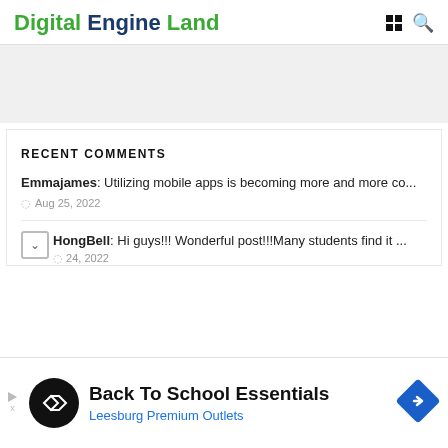Digital Engine Land
[Figure (other): Gray advertisement banner area]
RECENT COMMENTS
Emmajames: Utilizing mobile apps is becoming more and more co... Aug 25, 2022
HongBell: Hi guys!!! Wonderful post!!!Many students find it ... Aug 24, 2022
[Figure (other): Advertisement: Back To School Essentials - Leesburg Premium Outlets with circular logo and directional sign diamond icon]